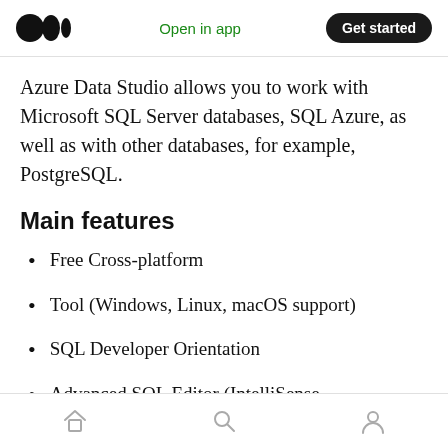Medium logo | Open in app | Get started
Azure Data Studio allows you to work with Microsoft SQL Server databases, SQL Azure, as well as with other databases, for example, PostgreSQL.
Main features
Free Cross-platform
Tool (Windows, Linux, macOS support)
SQL Developer Orientation
Advanced SQL Editor (IntelliSense
Home | Search | Profile